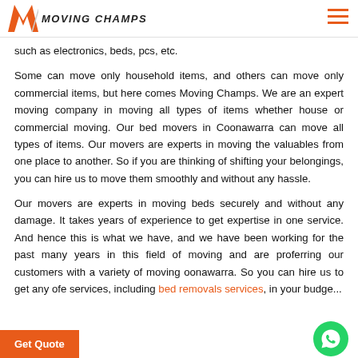Moving Champs
such as electronics, beds, pcs, etc.
Some can move only household items, and others can move only commercial items, but here comes Moving Champs. We are an expert moving company in moving all types of items whether house or commercial moving. Our bed movers in Coonawarra can move all types of items. Our movers are experts in moving the valuables from one place to another. So if you are thinking of shifting your belongings, you can hire us to move them smoothly and without any hassle.
Our movers are experts in moving beds securely and without any damage. It takes years of experience to get expertise in one service. And hence this is what we have, and we have been working for the past many years in this field of moving and are proferring our customers with a variety of moving oonawarra. So you can hire us to get any of e services, including bed removals services, in your budge...